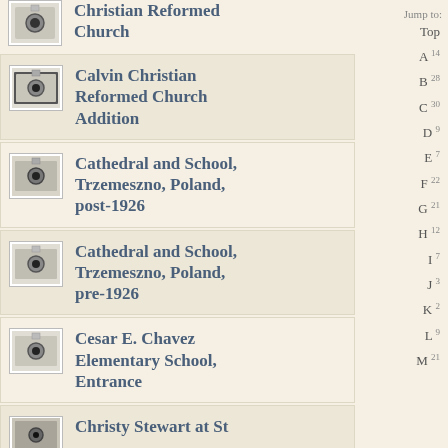Christian Reformed Church
Calvin Christian Reformed Church Addition
Cathedral and School, Trzemeszno, Poland, post-1926
Cathedral and School, Trzemeszno, Poland, pre-1926
Cesar E. Chavez Elementary School, Entrance
Christy Stewart at St
Jump to: Top A14 B28 C30 D9 E7 F22 G21 H12 I7 J3 K2 L9 M21